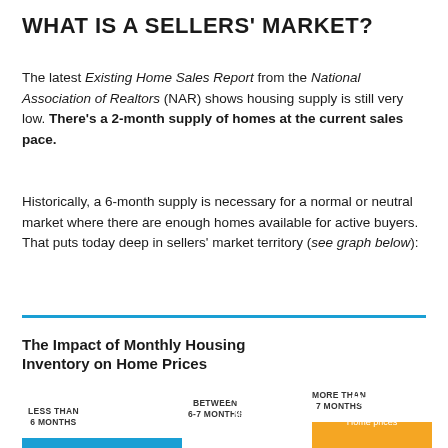WHAT IS A SELLERS' MARKET?
The latest Existing Home Sales Report from the National Association of Realtors (NAR) shows housing supply is still very low. There’s a 2-month supply of homes at the current sales pace.
Historically, a 6-month supply is necessary for a normal or neutral market where there are enough homes available for active buyers. That puts today deep in sellers’ market territory (see graph below):
[Figure (infographic): Bar chart titled 'The Impact of Monthly Housing Inventory on Home Prices' showing three segments: 'LESS THAN 6 MONTHS' (blue bar, Sellers' Market), 'BETWEEN 6-7 MONTHS' (gray bar, Neutral Market), 'MORE THAN 7 MONTHS' (orange bar, Buyers' Market, Home prices)]